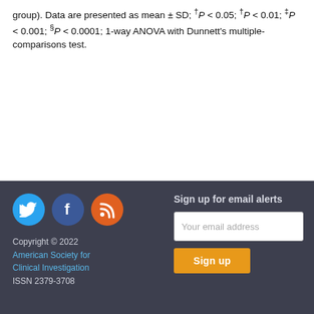group). Data are presented as mean ± SD; †P < 0.05; ‡P < 0.01; ‡P < 0.001; §P < 0.0001; 1-way ANOVA with Dunnett's multiple-comparisons test.
[Figure (other): Footer bar with social media icons (Twitter, Facebook, RSS), copyright notice for American Society for Clinical Investigation ISSN 2379-3708, and email sign-up form with input field and Sign up button.]